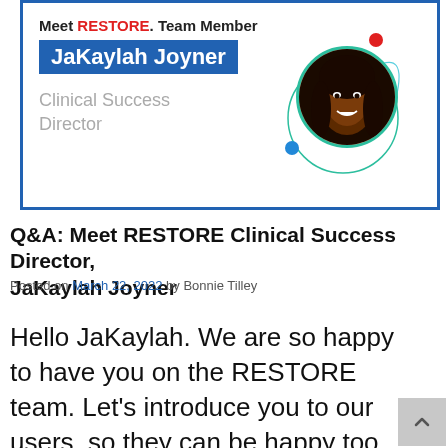[Figure (infographic): RESTORE team member card featuring JaKaylah Joyner, Clinical Success Director, with a circular portrait photo and decorative teal/blue orbital ring, red dot, and blue dot accents.]
Q&A: Meet RESTORE Clinical Success Director, JaKaylah Joyner
Posted on March 22, 2022 by Bonnie Tilley
Hello JaKaylah. We are so happy to have you on the RESTORE team. Let's introduce you to our users, so they can be happy too.